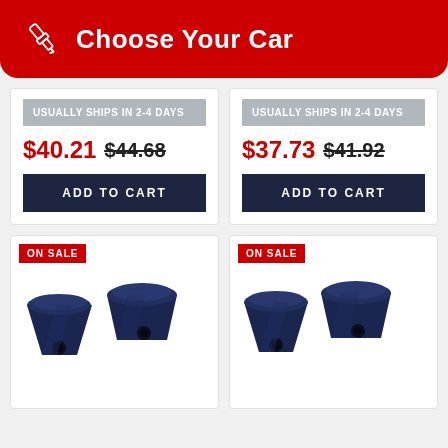Choose Your Car
USUALLY SHIPS IN 2-4 DAYS
$40.21 $44.68
ADD TO CART
USUALLY SHIPS IN 2-4 DAYS
$37.73 $41.92
ADD TO CART
[Figure (photo): Two dark navy blue polyurethane sway bar bushings, trapezoidal shape with hole]
ON SALE
[Figure (photo): Two dark navy blue polyurethane sway bar bushings, trapezoidal shape with hole, similar to left card]
ON SALE